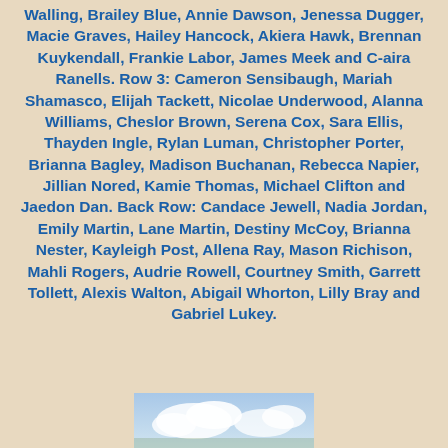Walling, Brailey Blue, Annie Dawson, Jenessa Dugger, Macie Graves, Hailey Hancock, Akiera Hawk, Brennan Kuykendall, Frankie Labor, James Meek and C-aira Ranells. Row 3: Cameron Sensibaugh, Mariah Shamasco, Elijah Tackett, Nicolae Underwood, Alanna Williams, Cheslor Brown, Serena Cox, Sara Ellis, Thayden Ingle, Rylan Luman, Christopher Porter, Brianna Bagley, Madison Buchanan, Rebecca Napier, Jillian Nored, Kamie Thomas, Michael Clifton and Jaedon Dan. Back Row: Candace Jewell, Nadia Jordan, Emily Martin, Lane Martin, Destiny McCoy, Brianna Nester, Kayleigh Post, Allena Ray, Mason Richison, Mahli Rogers, Audrie Rowell, Courtney Smith, Garrett Tollett, Alexis Walton, Abigail Whorton, Lilly Bray and Gabriel Lukey.
[Figure (photo): Partial photo visible at the bottom of the page, appears to show sky with clouds]